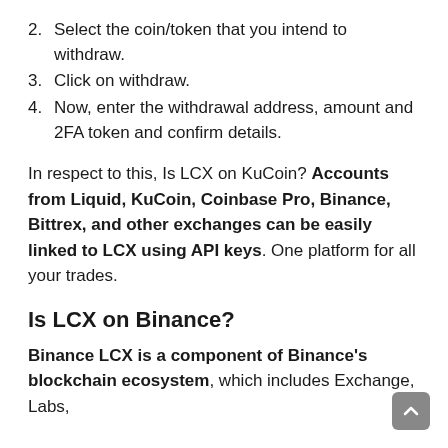2. Select the coin/token that you intend to withdraw.
3. Click on withdraw.
4. Now, enter the withdrawal address, amount and 2FA token and confirm details.
In respect to this, Is LCX on KuCoin? Accounts from Liquid, KuCoin, Coinbase Pro, Binance, Bittrex, and other exchanges can be easily linked to LCX using API keys. One platform for all your trades.
Is LCX on Binance?
Binance LCX is a component of Binance's blockchain ecosystem, which includes Exchange, Labs, Launchpad, Info and Charity Foundation...